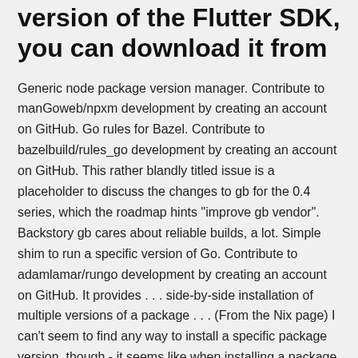version of the Flutter SDK, you can download it from
Generic node package version manager. Contribute to manGoweb/npxm development by creating an account on GitHub. Go rules for Bazel. Contribute to bazelbuild/rules_go development by creating an account on GitHub. This rather blandly titled issue is a placeholder to discuss the changes to gb for the 0.4 series, which the roadmap hints "improve gb vendor". Backstory gb cares about reliable builds, a lot. Simple shim to run a specific version of Go. Contribute to adamlamar/rungo development by creating an account on GitHub. It provides . . . side-by-side installation of multiple versions of a package . . . (From the Nix page) I can't seem to find any way to install a specific package version, though - it seems like when installing a package you just get wha.